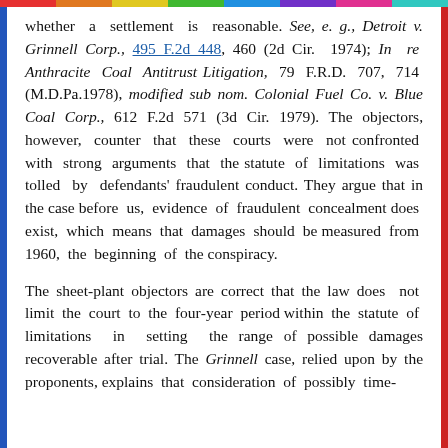whether a settlement is reasonable. See, e. g., Detroit v. Grinnell Corp., 495 F.2d 448, 460 (2d Cir. 1974); In re Anthracite Coal Antitrust Litigation, 79 F.R.D. 707, 714 (M.D.Pa.1978), modified sub nom. Colonial Fuel Co. v. Blue Coal Corp., 612 F.2d 571 (3d Cir. 1979). The objectors, however, counter that these courts were not confronted with strong arguments that the statute of limitations was tolled by defendants' fraudulent conduct. They argue that in the case before us, evidence of fraudulent concealment does exist, which means that damages should be measured from 1960, the beginning of the conspiracy.
The sheet-plant objectors are correct that the law does not limit the court to the four-year period within the statute of limitations in setting the range of possible damages recoverable after trial. The Grinnell case, relied upon by the proponents, explains that consideration of possibly time-